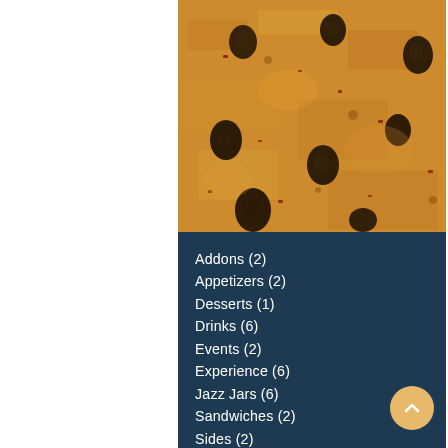[Figure (photo): Close-up photo of a baked dish with black beans on top of a golden, cheesy or grain-based surface with red pepper flakes visible]
Addons (2)
Appetizers (2)
Desserts (1)
Drinks (6)
Events (2)
Experience (6)
Jazz Jars (6)
Sandwiches (2)
Sides (2)
To Share (1)